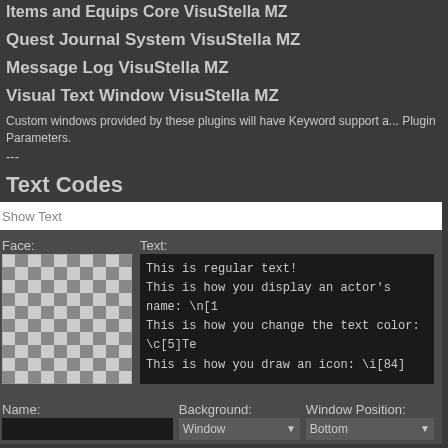Items and Equips Core VisuStella MZ
Quest Journal System VisuStella MZ
Message Log VisuStella MZ
Visual Text Window VisuStella MZ
Custom windows provided by these plugins will have Keyword support a... Plugin Parameters.
---
Text Codes
Show Text
Face:
Text:
This is regular text!
This is how you display an actor's name: \n[1
This is how you change the text color: \c[5]Te
This is how you draw an icon: \i[84]
Name:
Background:
Window Position:
Window
Bottom